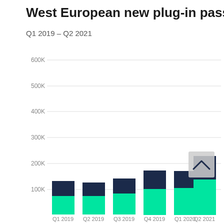West European new plug-in passe
Q1 2019 – Q2 2021
[Figure (stacked-bar-chart): West European new plug-in passenger cars]